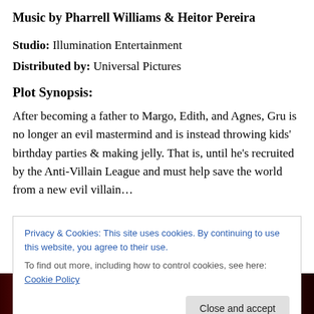Music by Pharrell Williams & Heitor Pereira
Studio: Illumination Entertainment
Distributed by: Universal Pictures
Plot Synopsis:
After becoming a father to Margo, Edith, and Agnes, Gru is no longer an evil mastermind and is instead throwing kids' birthday parties & making jelly. That is, until he's recruited by the Anti-Villain League and must help save the world from a new evil villain…
Privacy & Cookies: This site uses cookies. By continuing to use this website, you agree to their use.
To find out more, including how to control cookies, see here: Cookie Policy
[Figure (photo): Partial view of movie characters/actors at the bottom of the page]